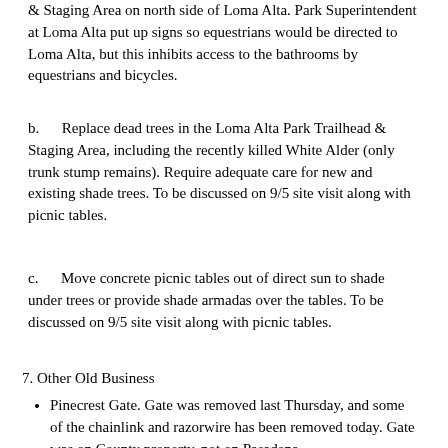& Staging Area on north side of Loma Alta. Park Superintendent at Loma Alta put up signs so equestrians would be directed to Loma Alta, but this inhibits access to the bathrooms by equestrians and bicycles.
b.      Replace dead trees in the Loma Alta Park Trailhead & Staging Area, including the recently killed White Alder (only trunk stump remains). Require adequate care for new and existing shade trees. To be discussed on 9/5 site visit along with picnic tables.
c.      Move concrete picnic tables out of direct sun to shade under trees or provide shade armadas over the tables. To be discussed on 9/5 site visit along with picnic tables.
7. Other Old Business
Pinecrest Gate. Gate was removed last Thursday, and some of the chainlink and razorwire has been removed today. Gate was on County property, not on Pasadena